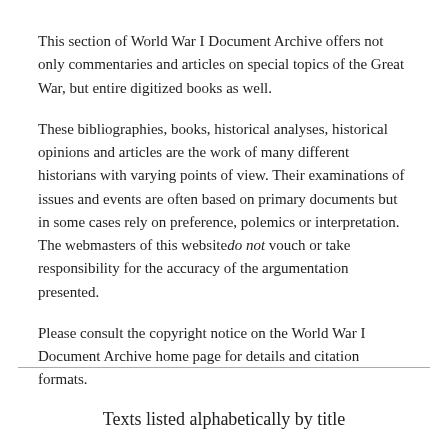This section of World War I Document Archive offers not only commentaries and articles on special topics of the Great War, but entire digitized books as well.
These bibliographies, books, historical analyses, historical opinions and articles are the work of many different historians with varying points of view. Their examinations of issues and events are often based on primary documents but in some cases rely on preference, polemics or interpretation. The webmasters of this website do not vouch or take responsibility for the accuracy of the argumentation presented.
Please consult the copyright notice on the World War I Document Archive home page for details and citation formats.
Texts listed alphabetically by title